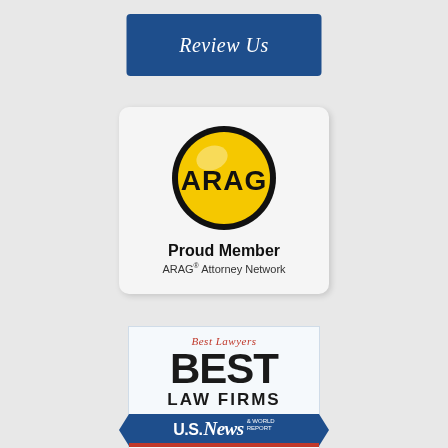[Figure (logo): Review Us button — dark blue rectangle with italic white text 'Review Us']
[Figure (logo): ARAG Proud Member badge — white rounded rectangle containing yellow circle with black border and bold text 'ARAG', below which reads 'Proud Member' and 'ARAG® Attorney Network']
[Figure (logo): Best Law Firms badge — light blue bordered rectangle with 'Best Lawyers' in red italic at top, large bold 'BEST LAW FIRMS' text, US News & World Report blue ribbon banner, red stripe, 'FAMILY LAW · TIER 1' text, and 'RICHMOND' at bottom]